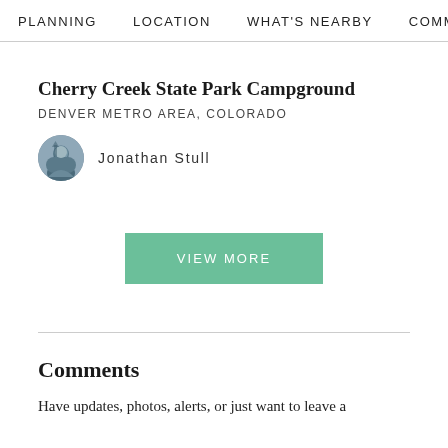PLANNING  LOCATION  WHAT'S NEARBY  COMMENT
Cherry Creek State Park Campground
DENVER METRO AREA, COLORADO
Jonathan Stull
VIEW MORE
Comments
Have updates, photos, alerts, or just want to leave a